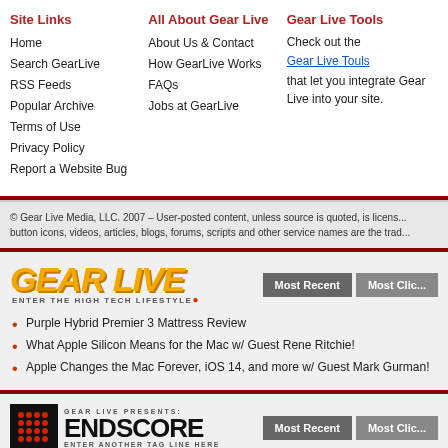Site Links
Home
Search GearLive
RSS Feeds
Popular Archive
Terms of Use
Privacy Policy
Report a Website Bug
All About Gear Live
About Us & Contact
How GearLive Works
FAQs
Jobs at GearLive
Gear Live Tools
Check out the Gear Live Touls that let you integrate Gear Live into your site.
© Gear Live Media, LLC. 2007 – User-posted content, unless source is quoted, is licensed... button icons, videos, articles, blogs, forums, scripts and other service names are the tra...
[Figure (logo): Gear Live logo with orange italic text and tagline 'Enter The High Tech Lifestyle']
Purple Hybrid Premier 3 Mattress Review
What Apple Silicon Means for the Mac w/ Guest Rene Ritchie!
Apple Changes the Mac Forever, iOS 14, and more w/ Guest Mark Gurman!
[Figure (logo): Gear Live Presents: Endscore logo with grid icon and tagline 'Enter Another Tag Line Here']